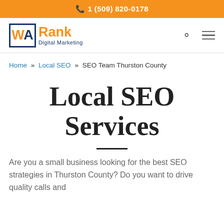1 (509) 820-0178
[Figure (logo): WA Rank Digital Marketing logo with orange WA letters in a blue-bordered box and orange Rank text with blue Digital Marketing subtitle]
Home » Local SEO » SEO Team Thurston County
Local SEO Services
Are you a small business looking for the best SEO strategies in Thurston County? Do you want to drive quality calls and